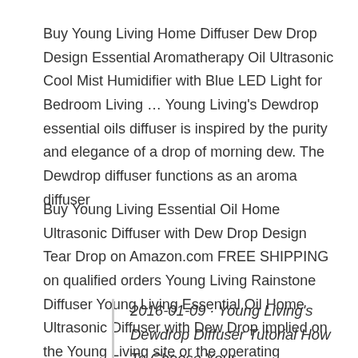Buy Young Living Home Diffuser Dew Drop Design Essential Aromatherapy Oil Ultrasonic Cool Mist Humidifier with Blue LED Light for Bedroom Living … Young Living's Dewdrop essential oils diffuser is inspired by the purity and elegance of a drop of morning dew. The Dewdrop diffuser functions as an aroma diffuser
Buy Young Living Essential Oil Home Ultrasonic Diffuser with Dew Drop Design Tear Drop on Amazon.com FREE SHIPPING on qualified orders Young Living Rainstone Diffuser Young Living Essential Oil Home Ultrasonic Diffuser with Dew Drop implied on the Young Living site or the operating manual.
2016-01-09 · Young Living's Dewdrop Diffuser Tutorial How To Choose Your